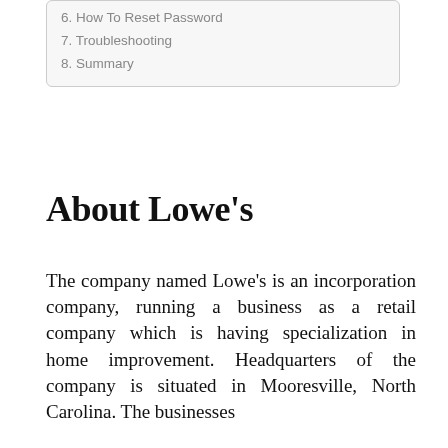6. How To Reset Password
7. Troubleshooting
8. Summary
About Lowe's
The company named Lowe's is an incorporation company, running a business as a retail company which is having specialization in home improvement. Headquarters of the company is situated in Mooresville, North Carolina. The businesses